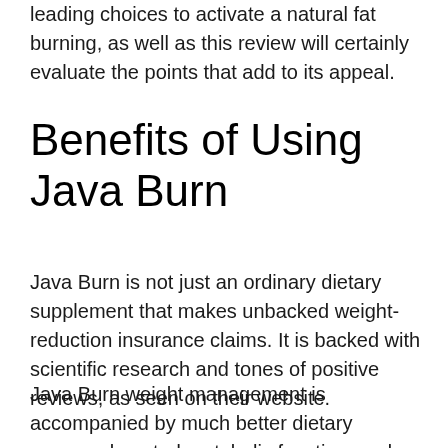leading choices to activate a natural fat burning, as well as this review will certainly evaluate the points that add to its appeal.
Benefits of Using Java Burn
Java Burn is not just an ordinary dietary supplement that makes unbacked weight-reduction insurance claims. It is backed with scientific research and tones of positive reviews, as seen on their website.
Java Burn weight management is accompanied by much better dietary synergy, boosted metabolic function, and a portion of other wellness advantages.